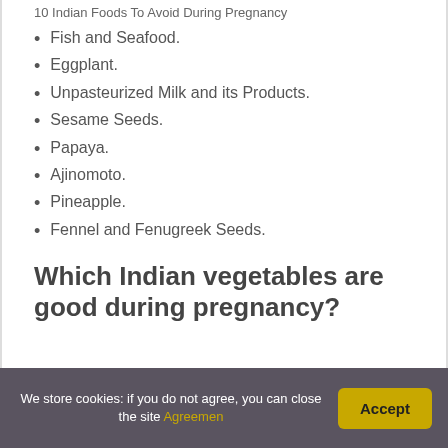10 Indian Foods To Avoid During Pregnancy
Fish and Seafood.
Eggplant.
Unpasteurized Milk and its Products.
Sesame Seeds.
Papaya.
Ajinomoto.
Pineapple.
Fennel and Fenugreek Seeds.
Which Indian vegetables are good during pregnancy?
We store cookies: if you do not agree, you can close the site Agreemen  Accept